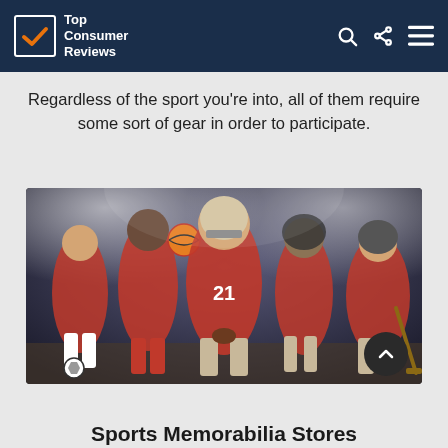Top Consumer Reviews
Regardless of the sport you're into, all of them require some sort of gear in order to participate.
[Figure (photo): Composite photo of five athletes in red uniforms representing different sports: soccer, basketball, American football (player #21 with helmet), baseball, and hockey, posed together in a stadium setting.]
Sports Memorabilia Stores